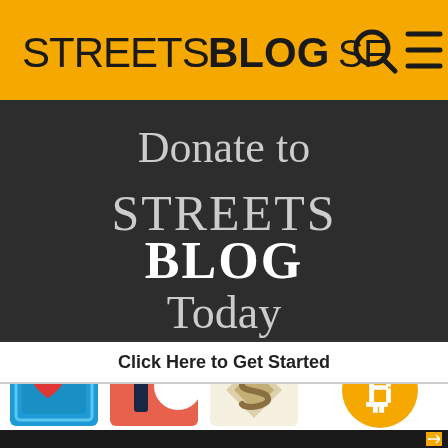[Figure (logo): StreetsBlog SF logo header with yellow background, black text 'STREETS' regular and 'BLOG' bold, then 'SF' in smaller text. Search and menu icons on the right.]
[Figure (infographic): Dark background banner with white text 'Donate to STREETSBLOG Today' with STREETS in light and BLOG in bold white lettering.]
[Figure (infographic): Four donation platform icons: blue clipboard with heart (Network for Good), coral/red Patreon logo, gold/tan Stellar/Stripe logo, orange Bitcoin logo.]
Click Here to Get Started